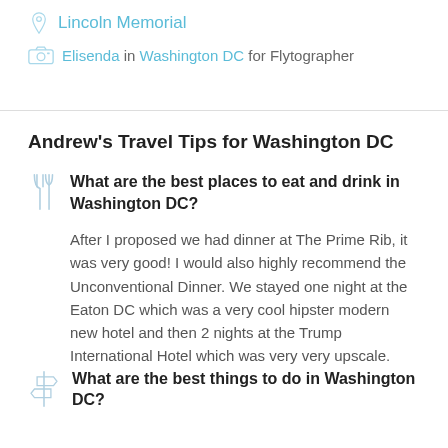Lincoln Memorial
Elisenda in Washington DC for Flytographer
Andrew's Travel Tips for Washington DC
What are the best places to eat and drink in Washington DC?
After I proposed we had dinner at The Prime Rib, it was very good! I would also highly recommend the Unconventional Dinner. We stayed one night at the Eaton DC which was a very cool hipster modern new hotel and then 2 nights at the Trump International Hotel which was very very upscale.
What are the best things to do in Washington DC?